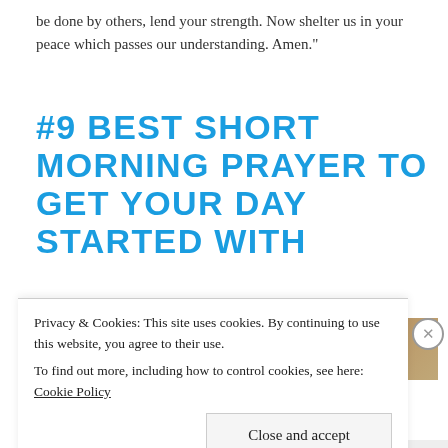be done by others, lend your strength. Now shelter us in your peace which passes our understanding. Amen."
#9 BEST SHORT MORNING PRAYER TO GET YOUR DAY STARTED WITH
[Figure (photo): Partial photo with warm golden/amber tones, partially obscured by cookie consent banner]
Privacy & Cookies: This site uses cookies. By continuing to use this website, you agree to their use.
To find out more, including how to control cookies, see here: Cookie Policy